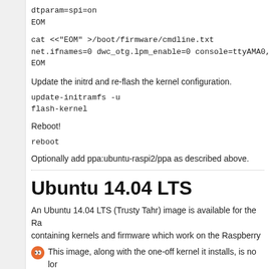dtparam=spi=on
EOM
cat <<"EOM" >/boot/firmware/cmdline.txt
net.ifnames=0 dwc_otg.lpm_enable=0 console=ttyAMA0,11
EOM
Update the initrd and re-flash the kernel configuration.
update-initramfs -u
flash-kernel
Reboot!
reboot
Optionally add ppa:ubuntu-raspi2/ppa as described above.
Ubuntu 14.04 LTS
An Ubuntu 14.04 LTS (Trusty Tahr) image is available for the Ra containing kernels and firmware which work on the Raspberry
This image, along with the one-off kernel it installs, is no lor